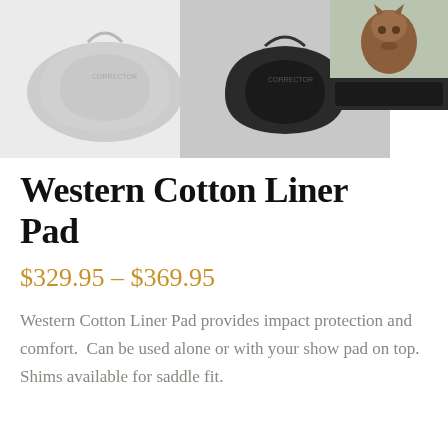[Figure (photo): Three product images side by side: a light gray Western saddle pad on the left, a black Western saddle pad in the center, and a photo of a horse looking over a fence with a dark pad on the right.]
Western Cotton Liner Pad
$329.95 – $369.95
Western Cotton Liner Pad provides impact protection and comfort.  Can be used alone or with your show pad on top. Shims available for saddle fit.